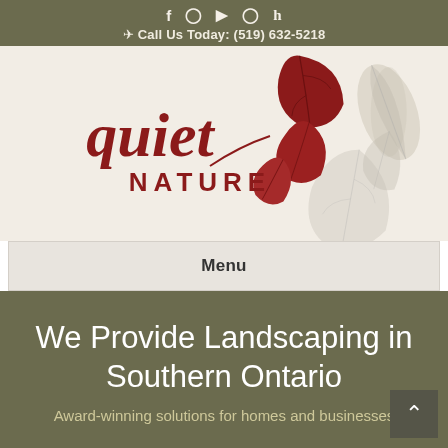f ⊕ ▶ ◎ h  Call Us Today: (519) 632-5218
[Figure (logo): Quiet Nature landscaping logo with oak leaves in dark red and grey tones on a light textured background]
Menu
We Provide Landscaping in Southern Ontario
Award-winning solutions for homes and businesses